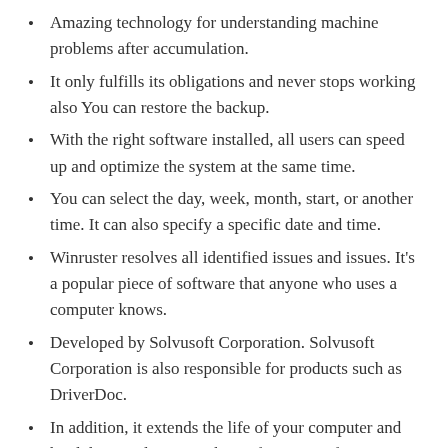Amazing technology for understanding machine problems after accumulation.
It only fulfills its obligations and never stops working also You can restore the backup.
With the right software installed, all users can speed up and optimize the system at the same time.
You can select the day, week, month, start, or another time. It can also specify a specific date and time.
Winruster resolves all identified issues and issues. It's a popular piece of software that anyone who uses a computer knows.
Developed by Solvusoft Corporation. Solvusoft Corporation is also responsible for products such as DriverDoc.
In addition, it extends the life of your computer and hard drive and restores the performance of